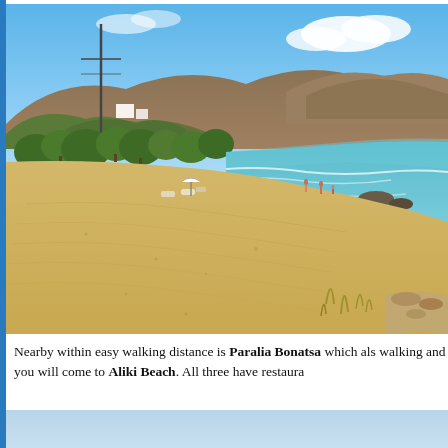[Figure (photo): A wide sandy beach with calm turquoise water on the right, green trees and scrubby hills in the background under a blue sky with clouds. A few people are visible near the water's edge.]
Nearby within easy walking distance is Paralia Bonatsa which als walking and you will come to Aliki Beach. All three have restaura
[Figure (photo): Partial view of another image with a light blue sky gradient, bottom portion of page.]